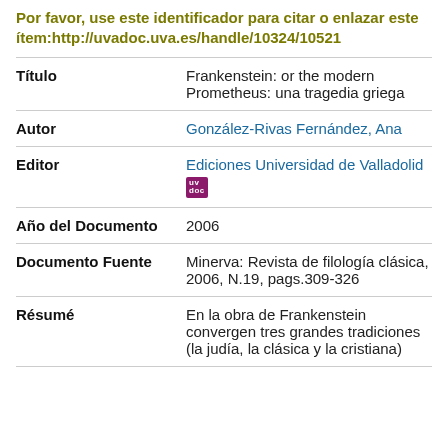Por favor, use este identificador para citar o enlazar este ítem:http://uvadoc.uva.es/handle/10324/10521
| Título | Frankenstein: or the modern Prometheus: una tragedia griega |
| Autor | González-Rivas Fernández, Ana |
| Editor | Ediciones Universidad de Valladolid |
| Año del Documento | 2006 |
| Documento Fuente | Minerva: Revista de filología clásica, 2006, N.19, pags.309-326 |
| Résumé | En la obra de Frankenstein convergen tres grandes tradiciones (la judía, la clásica y la cristiana) |